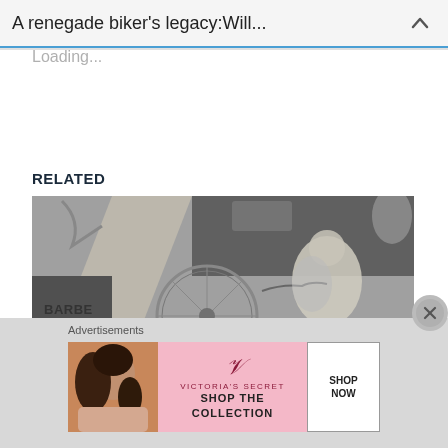A renegade biker's legacy:Will...
Loading...
RELATED
[Figure (photo): Black and white photograph showing a biker scene with a motorcycle wheel visible and text 'BARBER ATION AVE' partially visible in the lower left. A man in a light-colored jacket is prominent in the scene.]
Advertisements
[Figure (other): Victoria's Secret advertisement banner in pink with a woman's photo on the left, the Victoria's Secret logo and brand name in the center, text 'SHOP THE COLLECTION' and a white 'SHOP NOW' button on the right.]